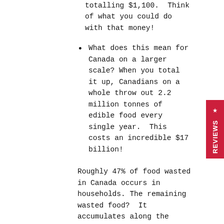totalling $1,100. Think of what you could do with that money!
What does this mean for Canada on a larger scale? When you total it up, Canadians on a whole throw out 2.2 million tonnes of edible food every single year. This costs an incredible $17 billion!
Roughly 47% of food wasted in Canada occurs in households. The remaining wasted food? It accumulates along the supply